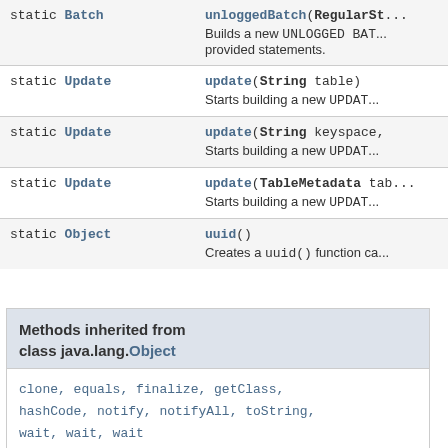| Type | Method and Description |
| --- | --- |
| static Batch | unloggedBatch(RegularSta...
Builds a new UNLOGGED BATC... provided statements. |
| static Update | update(String table)
Starts building a new UPDAT... |
| static Update | update(String keyspace, ...
Starts building a new UPDAT... |
| static Update | update(TableMetadata tab...
Starts building a new UPDAT... |
| static Object | uuid()
Creates a uuid() function ca... |
Methods inherited from class java.lang.Object
clone, equals, finalize, getClass, hashCode, notify, notifyAll, toString, wait, wait, wait